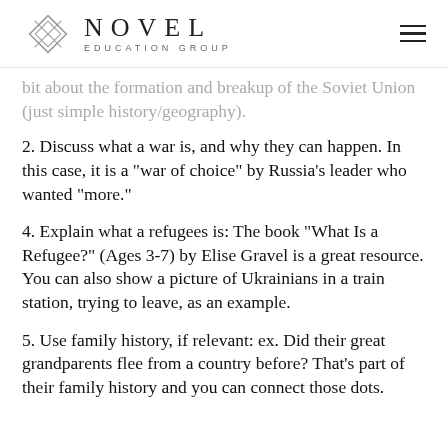NOVEL EDUCATION GROUP
bit about the formation and breakup of the Soviet Union (just simple history/geography).
2. Discuss what a war is, and why they can happen. In this case, it is a "war of choice" by Russia's leader who wanted "more."
4. Explain what a refugees is: The book "What Is a Refugee?" (Ages 3-7) by Elise Gravel is a great resource. You can also show a picture of Ukrainians in a train station, trying to leave, as an example.
5. Use family history, if relevant: ex. Did their great grandparents flee from a country before? That's part of their family history and you can connect those dots.